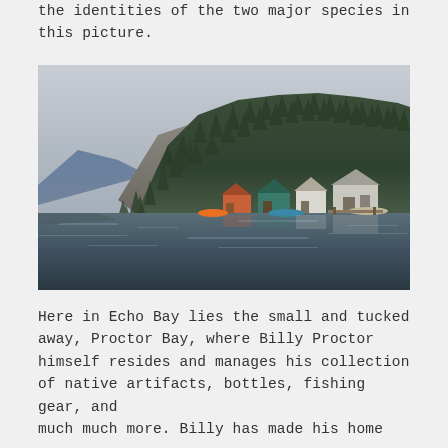the identities of the two major species in this picture.
[Figure (photo): A scenic photograph of Proctor Bay at Echo Bay, showing colorful floating houses and structures along the waterline beneath a forested rocky hillside, with calm water reflecting the scene under an overcast sky.]
Here in Echo Bay lies the small and tucked away, Proctor Bay, where Billy Proctor himself resides and manages his collection of native artifacts, bottles, fishing gear, and much much more. Billy has made his home